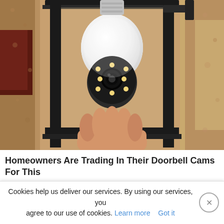[Figure (photo): A hand inserting a white smart security camera bulb into a black outdoor wall lantern fixture mounted on a textured stucco wall. The camera has a round lens module with LED lights at the bottom of the bulb.]
Homeowners Are Trading In Their Doorbell Cams For This
Camerca
Learn More
Cookies help us deliver our services. By using our services, you agree to our use of cookies. Learn more  Got it